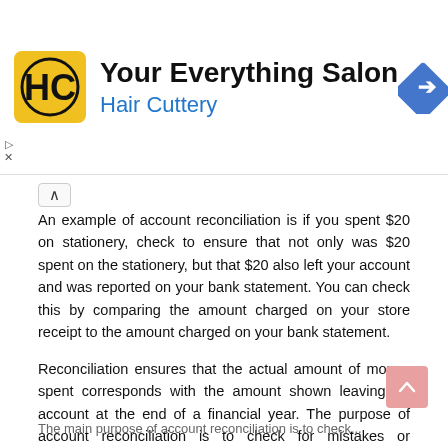[Figure (logo): Hair Cuttery 'Your Everything Salon' advertisement banner with HC logo and navigation arrow icon]
An example of account reconciliation is if you spent $20 on stationery, check to ensure that not only was $20 spent on the stationery, but that $20 also left your account and was reported on your bank statement. You can check this by comparing the amount charged on your store receipt to the amount charged on your bank statement.
Reconciliation ensures that the actual amount of money spent corresponds with the amount shown leaving an account at the end of a financial year. The purpose of account reconciliation is to check for mistakes or fraudulent activity.
Why Should You Reconcile Accounts?
The main purpose of account reconciliation is to check...